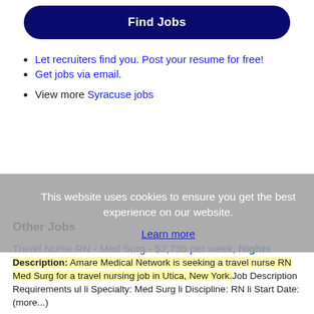[Figure (other): Find Jobs button — dark navy rounded rectangle with white bold text 'Find Jobs']
Let recruiters find you. Post your resume for free!
Get jobs via email.
View more Syracuse jobs
[Figure (other): Cookie consent overlay: 'This website uses cookies to ensure you get the best experience on our website.' with 'Learn more' link]
Other Jobs
Travel Nurse RN - Med Surg - $2,736 per week, Nights
Description: Amare Medical Network is seeking a travel nurse RN Med Surg for a travel nursing job in Utica, New York.Job Description Requirements ul li Specialty: Med Surg li Discipline: RN li Start Date: (more...)